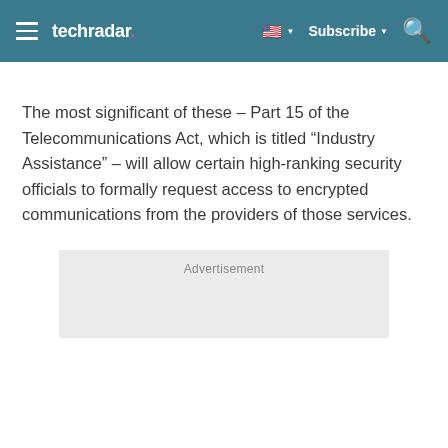techradar | Subscribe
The most significant of these – Part 15 of the Telecommunications Act, which is titled “Industry Assistance” – will allow certain high-ranking security officials to formally request access to encrypted communications from the providers of those services.
[Figure (other): Advertisement placeholder box with grey background and 'Advertisement' label]